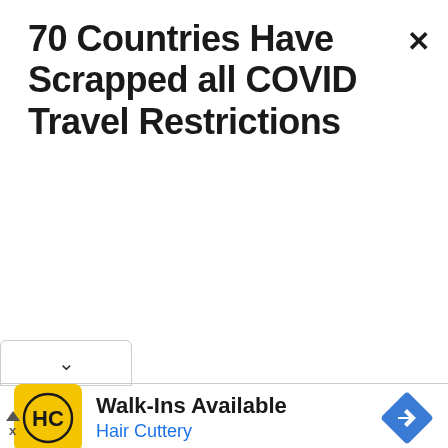70 Countries Have Scrapped all COVID Travel Restrictions
[Figure (screenshot): Dropdown chevron UI element with a down-arrow (v) symbol in a rounded rectangle tab]
[Figure (infographic): Advertisement banner for Hair Cuttery showing yellow HC logo, 'Walk-Ins Available' text, 'Hair Cuttery' in blue, and a blue diamond-shaped navigation arrow icon on the right]